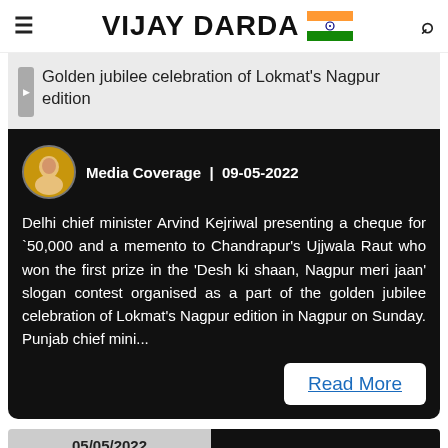VIJAY DARDA
Golden jubilee celebration of Lokmat's Nagpur edition
Media Coverage | 09-05-2022
Delhi chief minister Arvind Kejriwal presenting a cheque for `50,000 and a memento to Chandrapur's Ujjwala Raut who won the first prize in the 'Desh ki shaan, Nagpur meri jaan' slogan contest organised as a part of the golden jubilee celebration of Lokmat's Nagpur edition in Nagpur on Sunday. Punjab chief mini…
Read More